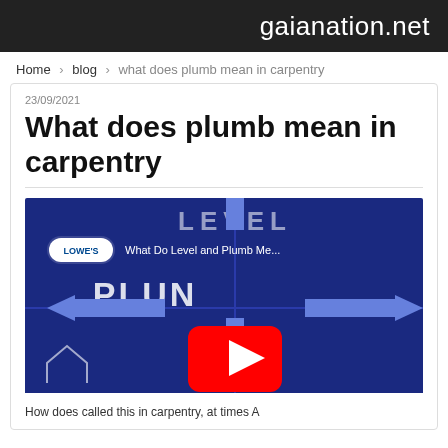gaianation.net
Home › blog › what does plumb mean in carpentry
23/09/2021
What does plumb mean in carpentry
[Figure (screenshot): YouTube video thumbnail showing 'What Do Level and Plumb Me...' from Lowe's channel, with blue background showing arrows and 'PLUMB' text, and a red YouTube play button in the center]
How does called this in carpentry, at times A